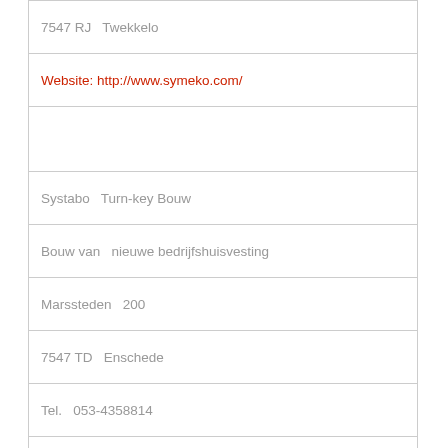| 7547 RJ   Twekkelo |
| Website: http://www.symeko.com/ |
|  |
| Systabo   Turn-key Bouw |
| Bouw van   nieuwe bedrijfshuisvesting |
| Marssteden   200 |
| 7547 TD   Enschede |
| Tel.   053-4358814 |
| Website: http://www.systabo.nl/ |
|  |
| Rabobank   Enschede-Haaksbergen |